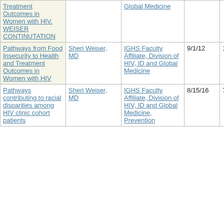| Project Title | PI | Department/Division | Start Date | End Date |
| --- | --- | --- | --- | --- |
| Treatment Outcomes in Women with HIV. WEISER CONTINUTATION |  | Global Medicine |  |  |
| Pathways from Food Insecurity to Health and Treatment Outcomes in Women with HIV | Sheri Weiser, MD | IGHS Faculty Affiliate, Division of HIV, ID and Global Medicine | 9/1/12 | 11/30/16 |
| Pathways contributing to racial disparities among HIV clinic cohort patients | Sheri Weiser, MD | IGHS Faculty Affiliate, Division of HIV, ID and Global Medicine, Prevention | 8/15/16 | 7/31/17 |